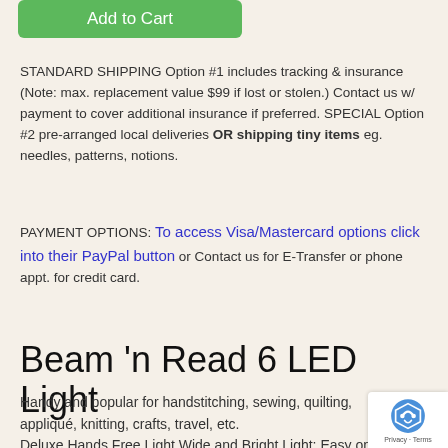[Figure (other): Green 'Add to Cart' button]
STANDARD SHIPPING Option #1 includes tracking & insurance (Note: max. replacement value $99 if lost or stolen.) Contact us w/ payment to cover additional insurance if preferred. SPECIAL Option #2 pre-arranged local deliveries OR shipping tiny items eg. needles, patterns, notions.
PAYMENT OPTIONS: To access Visa/Mastercard options click into their PayPal button or Contact us for E-Transfer or phone appt. for credit card.
Beam 'n Read 6 LED Light
Handy and popular for handstitching, sewing, quilting, appliqué, knitting, crafts, travel, etc.
Deluxe Hands Free Light Wide and Bright Light; Easy on